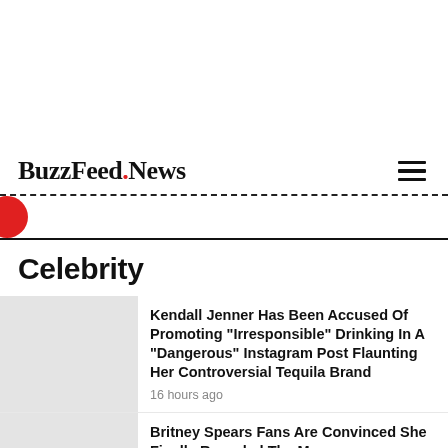BuzzFeed.News
Celebrity
Kendall Jenner Has Been Accused Of Promoting "Irresponsible" Drinking In A "Dangerous" Instagram Post Flaunting Her Controversial Tequila Brand
16 hours ago
Britney Spears Fans Are Convinced She Finally Revealed The Mea...